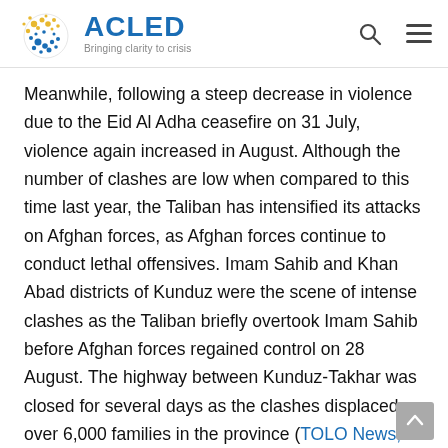ACLED — Bringing clarity to crisis
Meanwhile, following a steep decrease in violence due to the Eid Al Adha ceasefire on 31 July, violence again increased in August. Although the number of clashes are low when compared to this time last year, the Taliban has intensified its attacks on Afghan forces, as Afghan forces continue to conduct lethal offensives. Imam Sahib and Khan Abad districts of Kunduz were the scene of intense clashes as the Taliban briefly overtook Imam Sahib before Afghan forces regained control on 28 August. The highway between Kunduz-Takhar was closed for several days as the clashes displaced over 6,000 families in the province (TOLO News, 25 August 2020). The Taliban also seized Andarab and Baghlani Jadid districts of